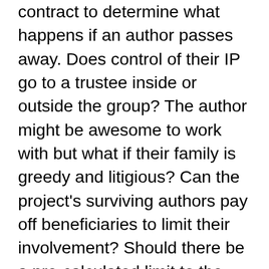contract to determine what happens if an author passes away. Does control of their IP go to a trustee inside or outside the group? The author might be awesome to work with but what if their family is greedy and litigious? Can the project's surviving authors pay off beneficiaries to limit their involvement? Should there be a pre-calculated limit to the value of said buy-out? This conversation doesn't have to be awkward if you give everyone involved the same terms. Death might be a taboo subject but it's worth breaching from a legal perspective to limit the damage it would cause if something unexpected were to occur. After all, most authors would never want to cause an avoidable feud between their family and co-